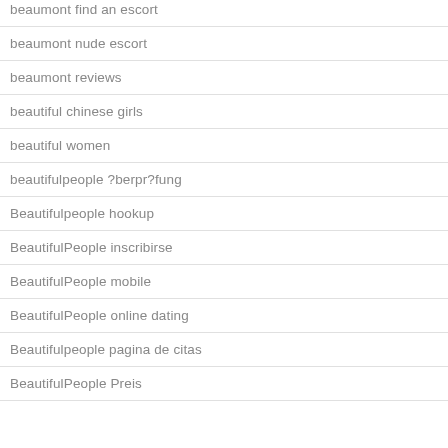beaumont find an escort
beaumont nude escort
beaumont reviews
beautiful chinese girls
beautiful women
beautifulpeople ?berpr?fung
Beautifulpeople hookup
BeautifulPeople inscribirse
BeautifulPeople mobile
BeautifulPeople online dating
Beautifulpeople pagina de citas
BeautifulPeople Preis